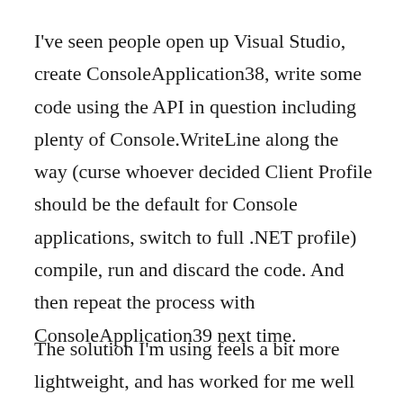I've seen people open up Visual Studio, create ConsoleApplication38, write some code using the API in question including plenty of Console.WriteLine along the way (curse whoever decided Client Profile should be the default for Console applications, switch to full .NET profile) compile, run and discard the code. And then repeat the process with ConsoleApplication39 next time.
The solution I'm using feels a bit more lightweight, and has worked for me well over the years. It is very